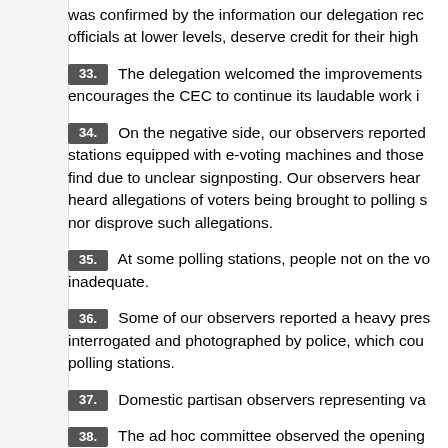was confirmed by the information our delegation rec officials at lower levels, deserve credit for their high
33. The delegation welcomed the improvements encourages the CEC to continue its laudable work i
34. On the negative side, our observers reported stations equipped with e-voting machines and those find due to unclear signposting. Our observers hear heard allegations of voters being brought to polling s nor disprove such allegations.
35. At some polling stations, people not on the vo inadequate.
36. Some of our observers reported a heavy pres interrogated and photographed by police, which cou polling stations.
37. Domestic partisan observers representing va
38. The ad hoc committee observed the opening